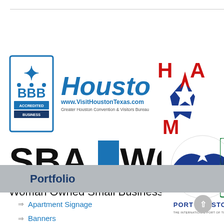[Figure (logo): Collection of organization logos: BBB Accredited Business, Houston Greater Convention & Visitors Bureau (www.VisitHoustonTexas.com), HAA (star emblem), ITEX, SBA WOSB Woman Owned Small Business, Port Houston The International Port of Texas, Certified WBE Women's Business]
Portfolio
Apartment Signage
Banners